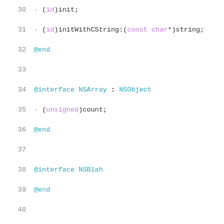30   - (id)init;
31   - (id)initWithCString:(const char*)string;
32   @end
33
34   @interface NSArray : NSObject
35   - (unsigned)count;
36   @end
37
38   @interface NSBlah
39   @end
40
41   @interface NSMutableArray : NSArray
42   @end
43
44   @interface NSBlah ()
45   + (Unrelated *)newUnrelated;
46   @end
47
48   void test_inference() {
49     // Inference based on method family
50     __typeof__(([[NSString alloc] init])) *str =
51       typeof  (([[[[NSString new] self] retain] a